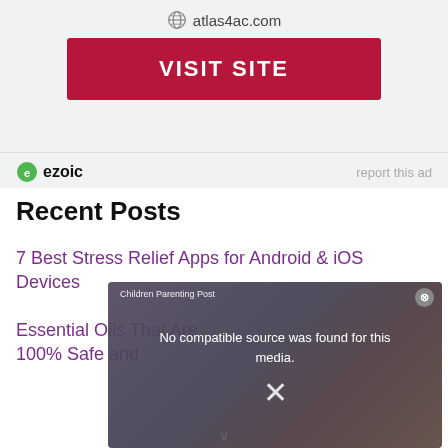atlas4ac.com
VISIT SITE
ezoic   report this ad
Recent Posts
7 Best Stress Relief Apps for Android & iOS Devices
Essential Oils That Are 100% Safe and
[Figure (screenshot): Video overlay popup with text 'Children Parenting Post' and 'No compatible source was found for this media.' with a close X button overlaying a blurred photo background]